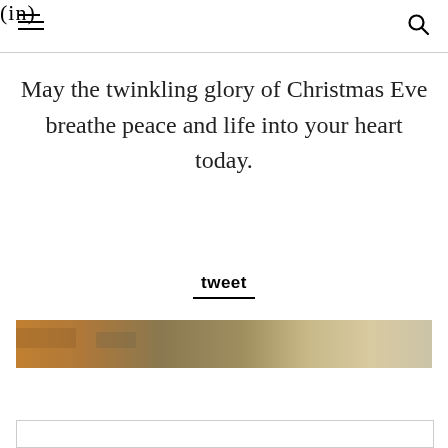(in)
May the twinkling glory of Christmas Eve breathe peace and life into your heart today.
tweet
[Figure (photo): Partial image strip showing a warm earth-toned painting or photograph with tan, brown, and muted green colors visible at the top of the image.]